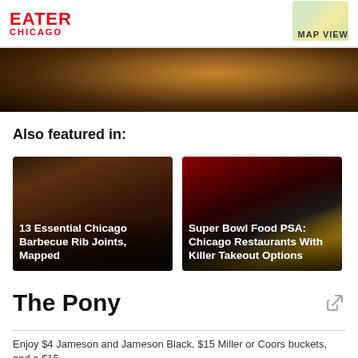EATER CHICAGO | MAP VIEW
[Figure (photo): Cropped hero image showing warm interior restaurant scene with brown leather seating and wooden surfaces]
Also featured in:
[Figure (photo): 13 Essential Chicago Barbecue Rib Joints, Mapped — image of dark charred BBQ ribs on a tray]
[Figure (photo): Super Bowl Food PSA: Chicago Restaurants With Killer Takeout Options — image of Super Bowl 50 trophy]
The Pony
Enjoy $4 Jameson and Jameson Black, $15 Miller or Coors buckets, and a $15